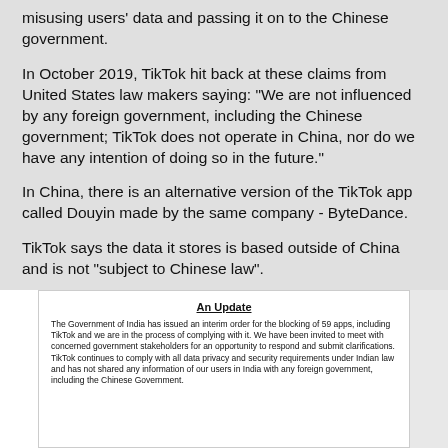misusing users' data and passing it on to the Chinese government.
In October 2019, TikTok hit back at these claims from United States law makers saying: "We are not influenced by any foreign government, including the Chinese government; TikTok does not operate in China, nor do we have any intention of doing so in the future."
In China, there is an alternative version of the TikTok app called Douyin made by the same company - ByteDance.
TikTok says the data it stores is based outside of China and is not "subject to Chinese law".
[Figure (screenshot): Screenshot of TikTok's 'An Update' statement titled in bold underline, stating that the Government of India has issued an interim order for the blocking of 59 apps, including TikTok, and describing compliance and data privacy measures.]